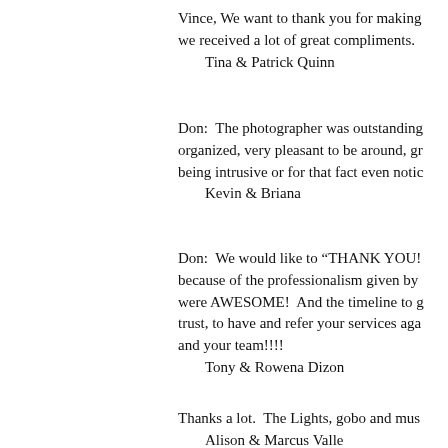Vince, We want to thank you for making we received a lot of great compliments.
    Tina & Patrick Quinn
Don:  The photographer was outstanding organized, very pleasant to be around, gr being intrusive or for that fact even notic
    Kevin & Briana
Don:  We would like to "THANK YOU! because of the professionalism given by were AWESOME!  And the timeline to g trust, to have and refer your services aga and your team!!!!
    Tony & Rowena Dizon
Thanks a lot.  The Lights, gobo and mus
    Alison & Marcus Valle